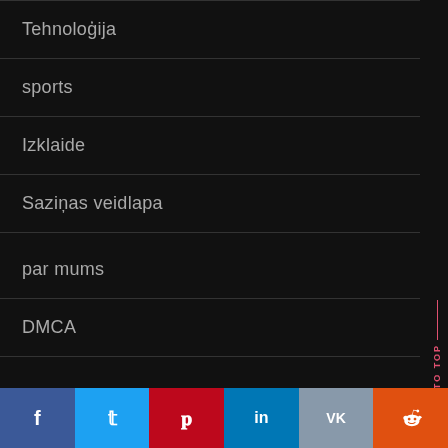Tehnoloģija
sports
Izklaide
Saziņas veidlapa
par mums
DMCA
BACK TO TOP | f  t  p  in  VK  reddit